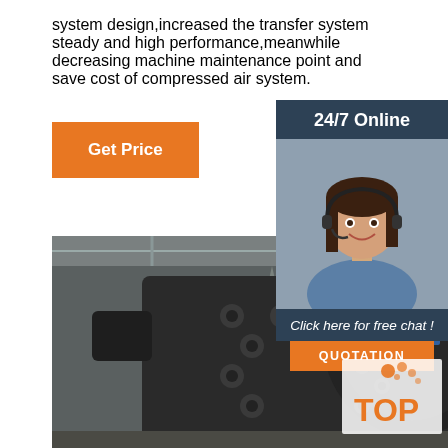system design,increased the transfer system steady and high performance,meanwhile decreasing machine maintenance point and save cost of compressed air system.
Get Price
24/7 Online
[Figure (photo): Customer service representative with headset, smiling, used as a 24/7 online support sidebar image]
Click here for free chat !
QUOTATION
[Figure (photo): Industrial heavy machinery component (large black metal valve or compressor fitting) inside an industrial warehouse/factory setting]
[Figure (logo): TOP badge logo with orange dots at top and orange text 'TOP' at bottom right corner]